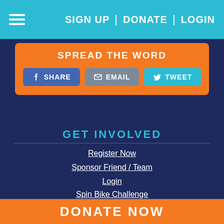SIGN UP | DONATE | LOGIN
SPREAD THE WORD
SHARE
EMAIL
TWEET
GET INVOLVED
Register Now
Sponsor Friend / Team
Login
Spin Bike Challenge
FIND OUT MORE
How It Works
DONATE NOW